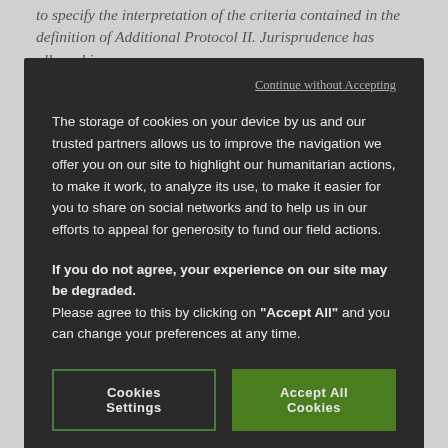to specify the interpretation of the criteria contained in the definition of Additional Protocol II. Jurisprudence has allowed in
[Figure (screenshot): Cookie consent overlay modal with dark background (#2a2a2a) containing: 'Continue without Accepting' link, cookie usage description text, bold warning about degraded experience, 'Cookies Settings' and 'Accept All Cookies' buttons]
conflict.
Definition in Jurisprudence
International and national tribunals have maintained and